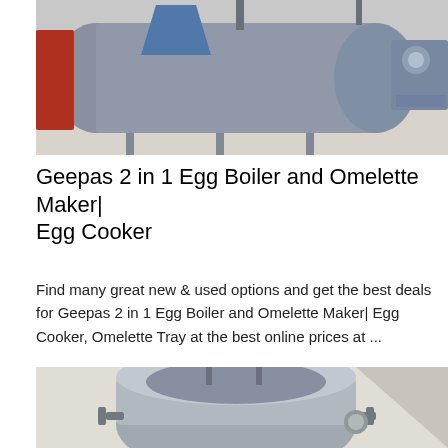[Figure (photo): Industrial boiler or large cylindrical machinery in a warehouse or factory setting, with pipes and metal structures visible.]
Geepas 2 in 1 Egg Boiler and Omelette Maker| Egg Cooker
Find many great new & used options and get the best deals for Geepas 2 in 1 Egg Boiler and Omelette Maker| Egg Cooker, Omelette Tray at the best online prices at ...
Get Price
[Figure (photo): Large industrial autoclave or pressure vessel in a room with white walls, showing handles and metal fittings.]